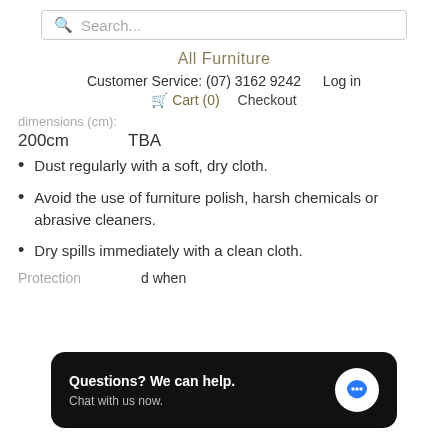Search...
All Furniture
Customer Service: (07) 3162 9242   Log in
Cart (0)   Checkout
dimensions (cm):
200cm   TBA
Dust regularly with a soft, dry cloth.
Avoid the use of furniture polish, harsh chemicals or abrasive cleaners.
Dry spills immediately with a clean cloth.
Protection
d when
[Figure (screenshot): Chat widget overlay: black rounded rectangle with text 'Questions? We can help.' and 'Chat with us now.' and a blue speech bubble icon on white circle.]